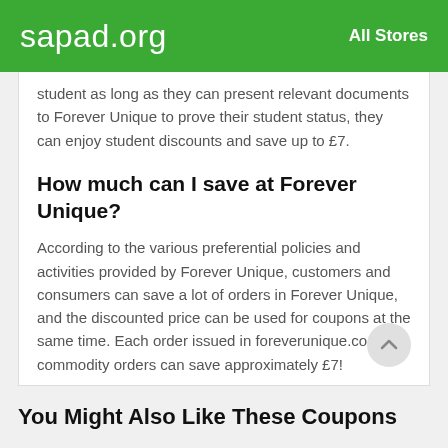sapad.org   All Stores
...student as long as they can present relevant documents to Forever Unique to prove their student status, they can enjoy student discounts and save up to £7.
How much can I save at Forever Unique?
According to the various preferential policies and activities provided by Forever Unique, customers and consumers can save a lot of orders in Forever Unique, and the discounted price can be used for coupons at the same time. Each order issued in foreverunique.co.uk commodity orders can save approximately £7!
You Might Also Like These Coupons